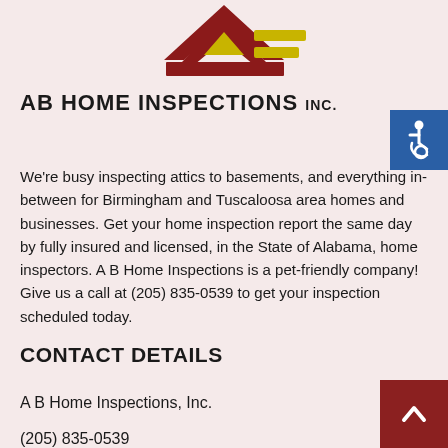[Figure (logo): AB Home Inspections Inc. logo — dark red and yellow house/chevron shape with lines on the right side]
AB HOME INSPECTIONS inc.
[Figure (illustration): Blue square accessibility icon with white wheelchair symbol]
We're busy inspecting attics to basements, and everything in-between for Birmingham and Tuscaloosa area homes and businesses. Get your home inspection report the same day by fully insured and licensed, in the State of Alabama, home inspectors. A B Home Inspections is a pet-friendly company! Give us a call at (205) 835-0539 to get your inspection scheduled today.
CONTACT DETAILS
A B Home Inspections, Inc.
(205) 835-0539
[Figure (illustration): Dark red square scroll-to-top button with white up-arrow chevron]